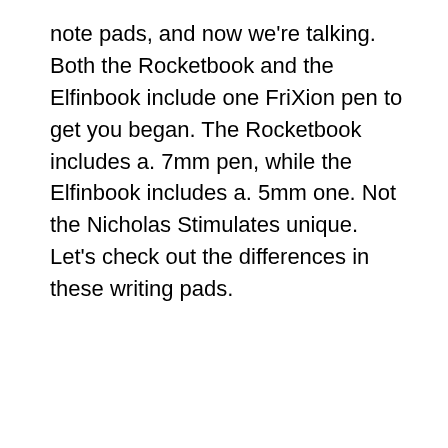note pads, and now we're talking. Both the Rocketbook and the Elfinbook include one FriXion pen to get you began. The Rocketbook includes a. 7mm pen, while the Elfinbook includes a. 5mm one. Not the Nicholas Stimulates unique. Let's check out the differences in these writing pads.